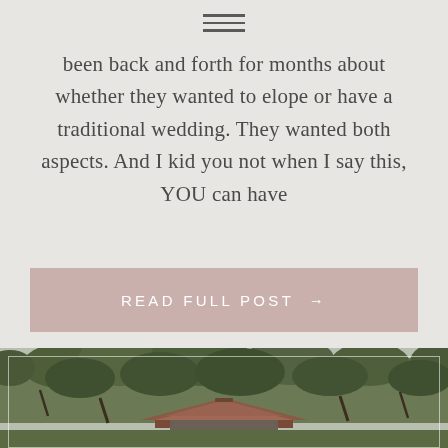≡
been back and forth for months about whether they wanted to elope or have a traditional wedding. They wanted both aspects. And I kid you not when I say this, YOU can have
READ FULL POST →
[Figure (photo): Aerial or elevated view of a tropical Balinese-style temple or resort building with a traditional tiered roof surrounded by dense palm trees and tropical jungle foliage, with a thin white rectangular frame overlay on the image.]